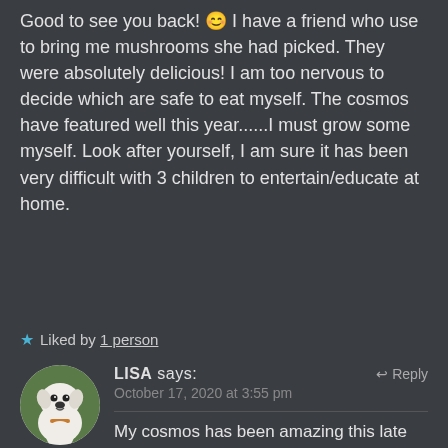Good to see you back! 😊 I have a friend who use to bring me mushrooms she had picked. They were absolutely delicious! I am too nervous to decide which are safe to eat myself. The cosmos have featured well this year......I must grow some myself. Look after yourself, I am sure it has been very difficult with 3 children to entertain/educate at home.
★ Liked by 1 person
[Figure (photo): Circular avatar photo of a white dog with a green background]
LISA says: ↩ Reply
October 17, 2020 at 3:55 pm
My cosmos has been amazing this late too. The bees like it better than any